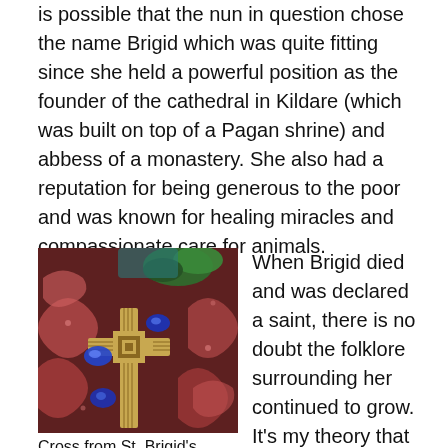is possible that the nun in question chose the name Brigid which was quite fitting since she held a powerful position as the founder of the cathedral in Kildare (which was built on top of a Pagan shrine) and abbess of a monastery. She also had a reputation for being generous to the poor and was known for healing miracles and compassionate care for animals.
[Figure (photo): Stained glass depiction of St. Brigid's Cross with colorful Celtic knotwork patterns in red, pink, green, blue, and gold on dark background.]
Cross from St. Brigid's
When Brigid died and was declared a saint, there is no doubt the folklore surrounding her continued to grow. It's my theory that many of the qualities that were once attributed to the Goddess Brigid became attached